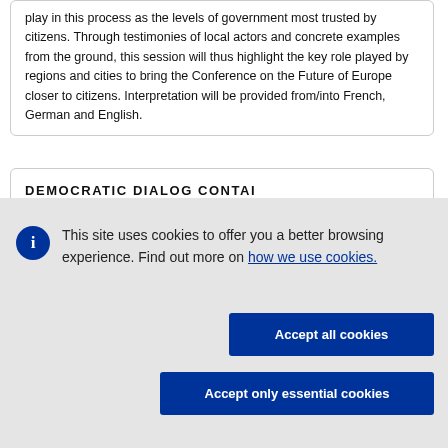play in this process as the levels of government most trusted by citizens. Through testimonies of local actors and concrete examples from the ground, this session will thus highlight the key role played by regions and cities to bring the Conference on the Future of Europe closer to citizens. Interpretation will be provided from/into French, German and English.
DEMOCRATIC DIALOG CONTAI...
This site uses cookies to offer you a better browsing experience. Find out more on how we use cookies.
Accept all cookies
Accept only essential cookies